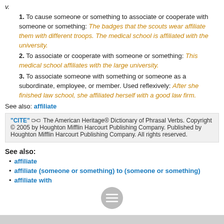v.
1. To cause someone or something to associate or cooperate with someone or something: The badges that the scouts wear affiliate them with different troops. The medical school is affiliated with the university.
2. To associate or cooperate with someone or something: This medical school affiliates with the large university.
3. To associate someone with something or someone as a subordinate, employee, or member. Used reflexively: After she finished law school, she affiliated herself with a good law firm.
See also: affiliate
"CITE" [link icon] The American Heritage® Dictionary of Phrasal Verbs. Copyright © 2005 by Houghton Mifflin Harcourt Publishing Company. Published by Houghton Mifflin Harcourt Publishing Company. All rights reserved.
See also:
affiliate
affiliate (someone or something) to (someone or something)
affiliate with